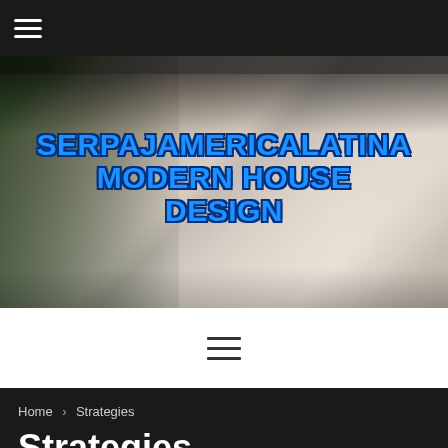☰ (hamburger menu icon)
[Figure (photo): Modern luxury living room interior with white sectional sofa, round wooden coffee table, recessed ceiling lights, staircase in background, and outdoor pool visible through glass walls. Overlaid text reads: SERPAJAMERICALATINA MODERN HOUSE DESIGN in bold blue Impact font with dark outline.]
[Figure (other): Hamburger menu icon (three horizontal lines) centered on white background]
Home > Strategies
Strategies